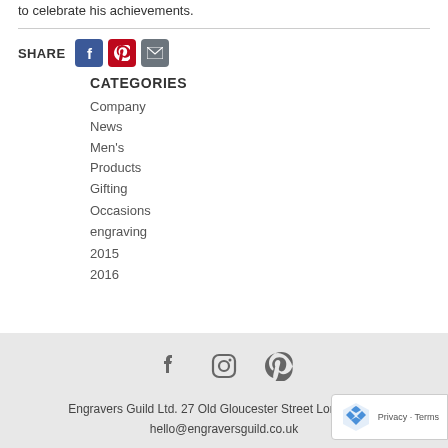to celebrate his achievements.
SHARE
CATEGORIES
Company News
Men's Products
Gifting
Occasions
engraving
2015
2016
Engravers Guild Ltd. 27 Old Gloucester Street London WC
hello@engraversguild.co.uk